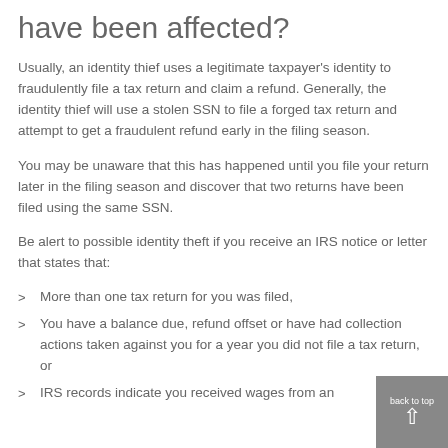have been affected?
Usually, an identity thief uses a legitimate taxpayer's identity to fraudulently file a tax return and claim a refund. Generally, the identity thief will use a stolen SSN to file a forged tax return and attempt to get a fraudulent refund early in the filing season.
You may be unaware that this has happened until you file your return later in the filing season and discover that two returns have been filed using the same SSN.
Be alert to possible identity theft if you receive an IRS notice or letter that states that:
More than one tax return for you was filed,
You have a balance due, refund offset or have had collection actions taken against you for a year you did not file a tax return, or
IRS records indicate you received wages from an